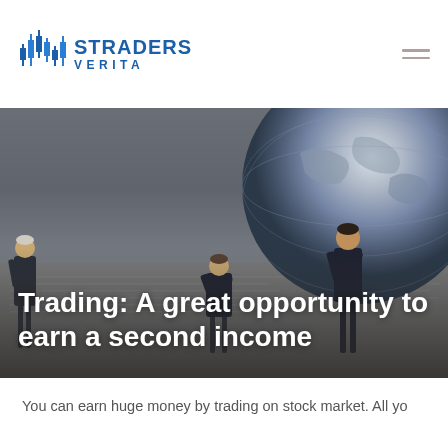STRADERS VERITA
[Figure (photo): Hero image showing miniature figurines of businessmen standing on newspaper financial pages, with a large globe in the background, dark moody tones]
Trading: A great opportunity to earn a second income
You can earn huge money by trading on stock market. All yo...